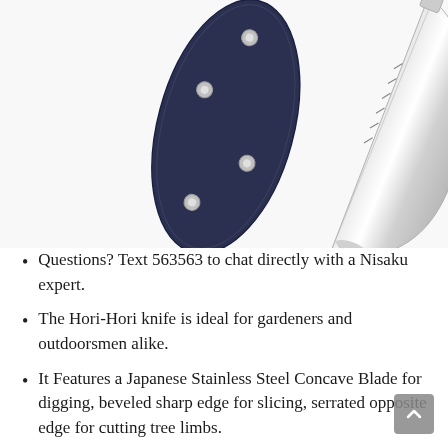[Figure (photo): Product photo showing a Hori-Hori knife with a stainless steel concave blade and a dark navy blue leather sheath with silver rivets, displayed diagonally on a white background.]
Questions? Text 563563 to chat directly with a Nisaku expert.
The Hori-Hori knife is ideal for gardeners and outdoorsmen alike.
It Features a Japanese Stainless Steel Concave Blade for digging, beveled sharp edge for slicing, serrated opposite edge for cutting tree limbs.